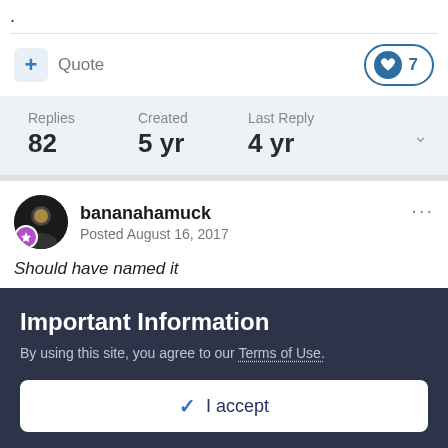.
+ Quote
♥ 7
| Replies | Created | Last Reply |
| --- | --- | --- |
| 82 | 5 yr | 4 yr |
bananahamuck
Posted August 16, 2017
Should have named it
Important Information
By using this site, you agree to our Terms of Use.
✓ I accept